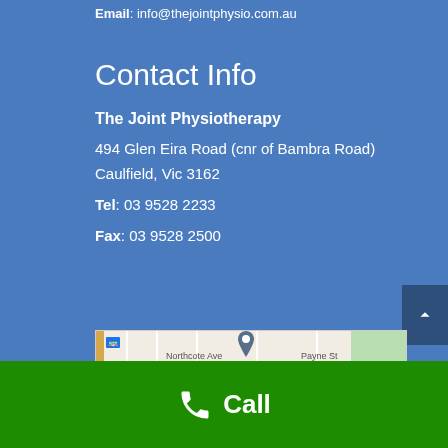Email: info@thejointphysio.com.au
Contact Info
The Joint Physiotherapy
494 Glen Eira Road (cnr of Bambra Road)
Caulfield, Vic 3162
Tel: 03 9528 2233
Fax: 03 9528 2500
[Figure (map): Google Maps showing location near Northcote Ave, Hart St and Payne St with a map pin marker]
Call